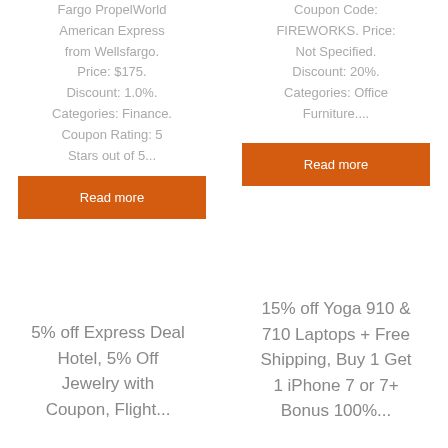Fargo PropelWorld American Express from Wellsfargo. Price: $175. Discount: 1.0%. Categories: Finance. Coupon Rating: 5 Stars out of 5...
Read more
Coupon Code: FIREWORKS. Price: Not Specified. Discount: 20%. Categories: Office Furniture....
Read more
5% off Express Deal Hotel, 5% Off Jewelry with Coupon, Flight...
15% off Yoga 910 & 710 Laptops + Free Shipping, Buy 1 Get 1 iPhone 7 or 7+ Bonus 100%...